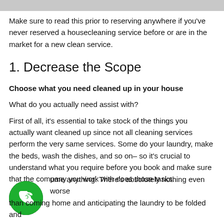Make sure to read this prior to reserving anywhere if you've never reserved a housecleaning service before or are in the market for a new clean service.
1. Decrease the Scope
Choose what you need cleaned up in your house
What do you actually need assist with?
First of all, it's essential to take stock of the things you actually want cleaned up since not all cleaning services perform the very same services. Some do your laundry, make the beds, wash the dishes, and so on– so it's crucial to understand what you require before you book and make sure that the company you work with does those tasks.
[Figure (illustration): Green circle phone icon (call button)]
ume anything. There's absolutely nothing even worse than coming home and anticipating the laundry to be folded and